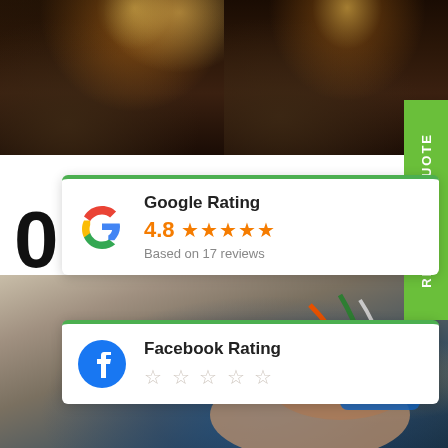[Figure (photo): Two side-by-side nighttime photos of an illuminated garden path with brick walls and topiary trees]
[Figure (infographic): Green vertical banner on right side reading REQUEST A QUOTE]
[Figure (screenshot): Google Rating card showing 4.8 stars based on 17 reviews with Google G logo]
[Figure (screenshot): Facebook Rating card with Facebook logo and empty stars]
[Figure (photo): Close-up photo of a hand holding electrical wiring/connector components]